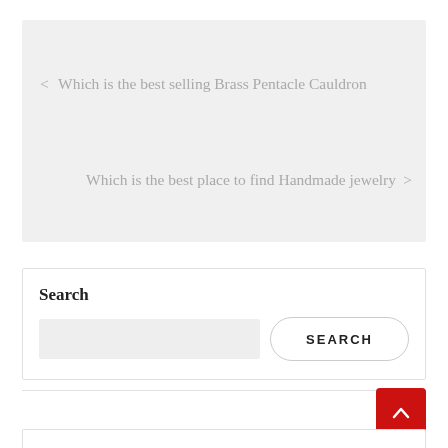< Which is the best selling Brass Pentacle Cauldron
Which is the best place to find Handmade jewelry >
Search
SEARCH